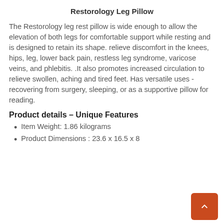Restorology Leg Pillow
The Restorology leg rest pillow is wide enough to allow the elevation of both legs for comfortable support while resting and is designed to retain its shape. relieve discomfort in the knees, hips, leg, lower back pain, restless leg syndrome, varicose veins, and phlebitis. .It also promotes increased circulation to relieve swollen, aching and tired feet. Has versatile uses - recovering from surgery, sleeping, or as a supportive pillow for reading.
Product details – Unique Features
Item Weight: 1.86 kilograms
Product Dimensions : 23.6 x 16.5 x 8